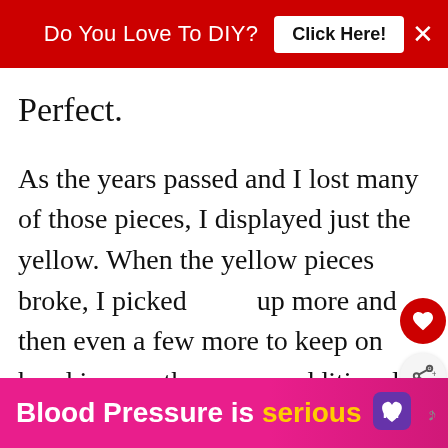Do You Love To DIY?   Click Here!   ×
Perfect.
As the years passed and I lost many of those pieces, I displayed just the yellow. When the yellow pieces broke, I picked up more and then even a few more to keep on hand in case there were additional casualties.
[Figure (infographic): WHAT'S NEXT → My Thrift Store Stinks. Small circular thumbnail of flowers.]
[Figure (infographic): Blood Pressure is serious advertisement banner with purple heart logo]